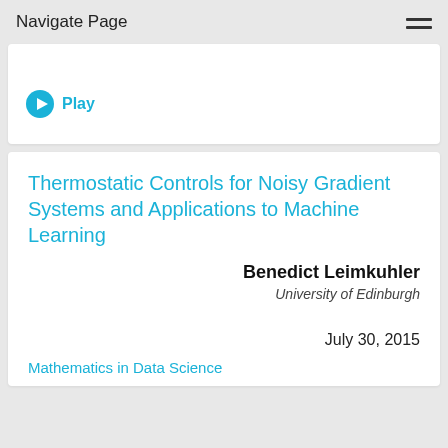Navigate Page
[Figure (other): Play button UI element with blue circle play icon and 'Play' text label]
Thermostatic Controls for Noisy Gradient Systems and Applications to Machine Learning
Benedict Leimkuhler
University of Edinburgh
July 30, 2015
Mathematics in Data Science